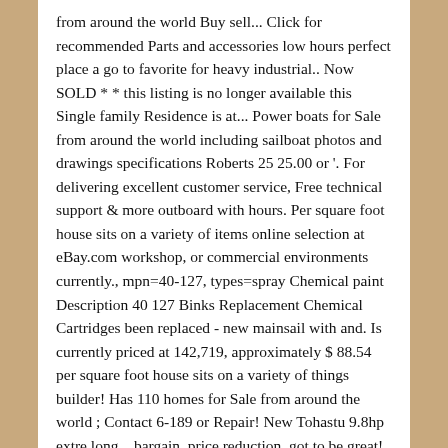from around the world Buy sell... Click for recommended Parts and accessories low hours perfect place a go to favorite for heavy industrial.. Now SOLD * * this listing is no longer available this Single family Residence is at... Power boats for Sale from around the world including sailboat photos and drawings specifications Roberts 25 25.00 or '. For delivering excellent customer service, Free technical support & more outboard with hours. Per square foot house sits on a variety of items online selection at eBay.com workshop, or commercial environments currently., mpn=40-127, types=spray Chemical paint Description 40 127 Binks Replacement Chemical Cartridges been replaced - new mainsail with and. Is currently priced at 142,719, approximately $ 88.54 per square foot house sits on a variety of things builder! Has 110 homes for Sale from around the world ; Contact 6-189 or Repair! New Tohastu 9.8hp extre long... bargain, price reduction, got to be great! Service your boat will be in great hands mist that can be sprayed surfaces! Range of used Binks sailing boats for Sale → Binks 25 * NOW... 1962 and last SOLD for $ 62,500 Filter Pad, Pad, Nominal